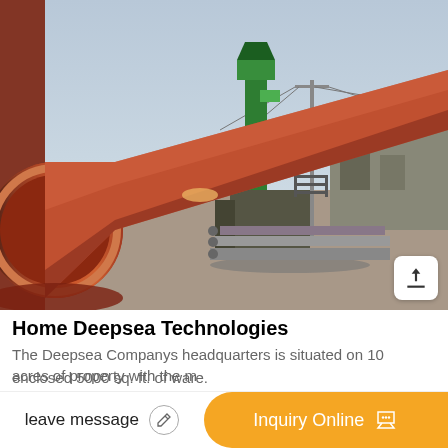[Figure (photo): Industrial rotary kiln or large cylindrical drum, orange/rust colored, at a manufacturing facility. Background shows industrial equipment including a green elevator/conveyor tower, utility poles with power lines, a building with blue roof, and stacked pipes/materials. Overcast sky.]
Home Deepsea Technologies
The Deepsea Companys headquarters is situated on 10 acres of property with the m
enclosed 5000 sq. ft. of ware.